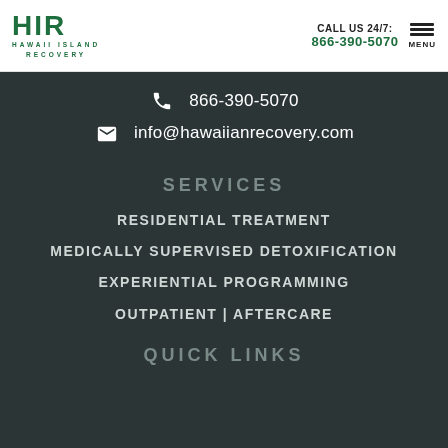HIR HAWAII ISLAND RECOVERY | CALL US 24/7: 866-390-5070 | MENU
866-390-5070
info@hawaiianrecovery.com
SERVICES
RESIDENTIAL TREATMENT
MEDICALLY SUPERVISED DETOXIFICATION
EXPERIENTIAL PROGRAMMING
OUTPATIENT | AFTERCARE
QUICK LINKS